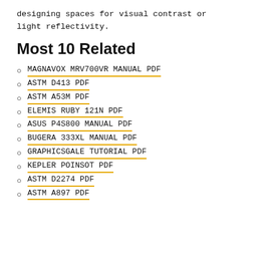designing spaces for visual contrast or light reflectivity.
Most 10 Related
MAGNAVOX MRV700VR MANUAL PDF
ASTM D413 PDF
ASTM A53M PDF
ELEMIS RUBY 121N PDF
ASUS P4S800 MANUAL PDF
BUGERA 333XL MANUAL PDF
GRAPHICSGALE TUTORIAL PDF
KEPLER POINSOT PDF
ASTM D2274 PDF
ASTM A897 PDF